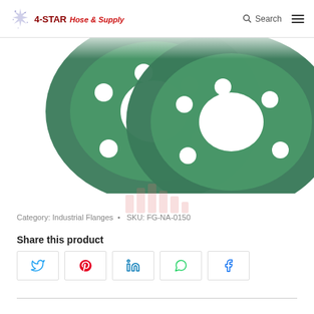4-STAR Hose & Supply — Search / Menu
[Figure (photo): Two green circular industrial flange gaskets with bolt holes, overlapping, shown from above on white background]
[Figure (logo): Faint pink/red bar chart watermark in center of page]
Category: Industrial Flanges  •   SKU: FG-NA-0150
Share this product
Social share buttons: Twitter, Pinterest, LinkedIn, WhatsApp, Facebook